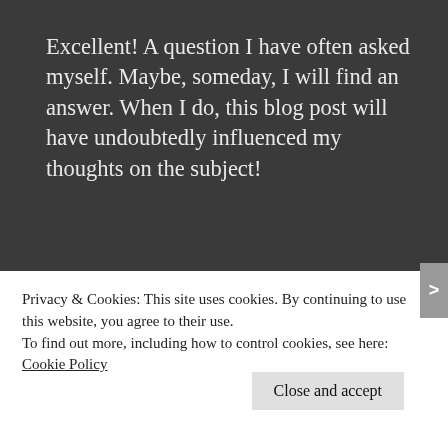Excellent! A question I have often asked myself. Maybe, someday, I will find an answer. When I do, this blog post will have undoubtedly influenced my thoughts on the subject!
★ Liked by 1 person
[Figure (illustration): Avatar image for Jay Leeward — a quilt-pattern style avatar with dark red and white geometric squares]
Jay Leeward
November 11, 2015    Reply
Privacy & Cookies: This site uses cookies. By continuing to use this website, you agree to their use.
To find out more, including how to control cookies, see here:
Cookie Policy
Close and accept